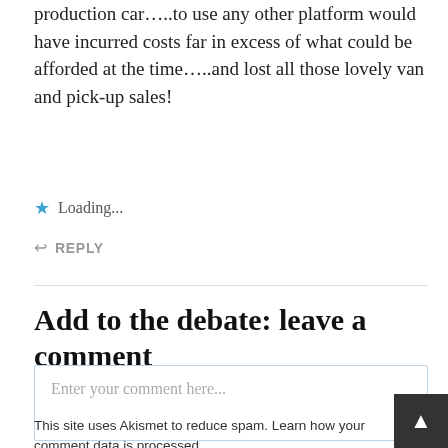production car…..to use any other platform would have incurred costs far in excess of what could be afforded at the time…..and lost all those lovely van and pick-up sales!
Loading...
REPLY
Add to the debate: leave a comment
Enter your comment here...
This site uses Akismet to reduce spam. Learn how your comment data is processed.